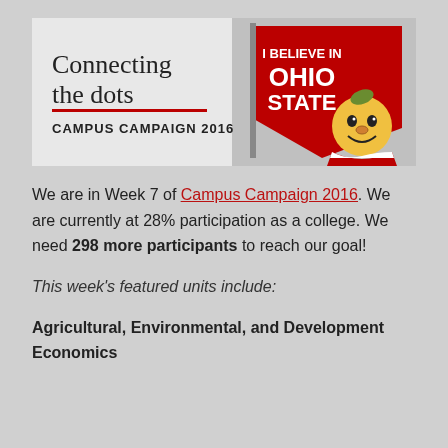[Figure (illustration): Ohio State Campus Campaign 2016 banner. Shows 'Connecting the dots' text with a red underline, 'CAMPUS CAMPAIGN 2016' in bold, and Brutus Buckeye mascot holding an 'I BELIEVE IN OHIO STATE' flag on a light grey background.]
We are in Week 7 of Campus Campaign 2016. We are currently at 28% participation as a college. We need 298 more participants to reach our goal!
This week's featured units include:
Agricultural, Environmental, and Development Economics